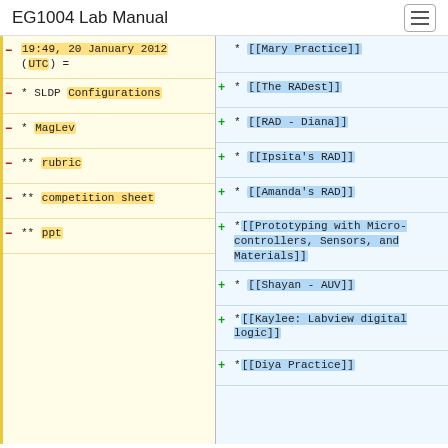EG1004 Lab Manual
−19:49, 20 January 2012 (UTC) =
− * SLDP Configurations
− * MagLev
− ** rubric
− ** competition sheet
− ** ppt
* [[Mary Practice]]
+ * [[The RADest]]
+ * [[RAD - Diana]]
+ * [[Ipsita's RAD]]
+ * [[Amanda's RAD]]
+ *[[Prototyping with Micro-controllers, Sensors, and Materials]]
+ * [[Shayan - AUV]]
+ *[[Kaylee: Labview digital logic]]
+ *[[Diya Practice]]